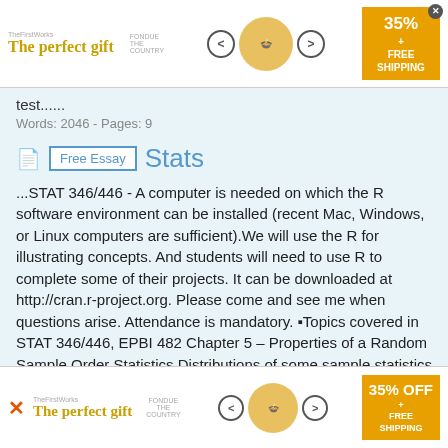[Figure (infographic): Top advertisement banner: 'The perfect gift' in gold text with bowl image, navigation arrows, and 35% OFF + FREE SHIPPING badge]
test......
Words: 2046 - Pages: 9
Free Essay  Stats
...STAT 346/446 - A computer is needed on which the R software environment can be installed (recent Mac, Windows, or Linux computers are sufficient).We will use the R for illustrating concepts. And students will need to use R to complete some of their projects. It can be downloaded at http://cran.r-project.org. Please come and see me when questions arise. Attendance is mandatory. •Topics covered in STAT 346/446, EPBI 482 Chapter 5 – Properties of a Random Sample Order Statistics Distributions of some sample statistics Definitions of chi-square, t and F...
[Figure (infographic): Bottom advertisement banner: 'The perfect gift' in gold text with bowl image, navigation arrows, and 35% OFF + FREE SHIPPING badge]